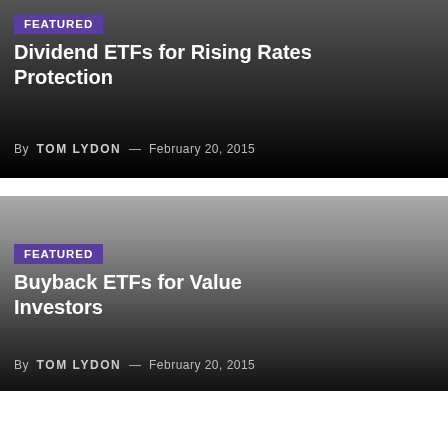[Figure (other): Featured article card with dark gradient background. Badge label 'FEATURED' with title 'Dividend ETFs for Rising Rates Protection'. Author: TOM LYDON, Date: February 20, 2015.]
[Figure (other): Featured article card with gray-to-dark gradient background. Badge label 'FEATURED' with title 'Buyback ETFs for Value Investors'. Author: TOM LYDON, Date: February 20, 2015.]
[Figure (other): Featured article card with light gray gradient background. Badge label 'FEATURED' with partial title 'ticking With Utilities-Heavy'.]